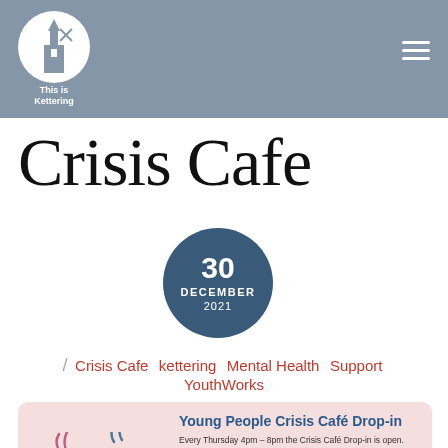This is Kettering
Crisis Cafe
[Figure (infographic): Dark blue circle with date: 30 DECEMBER 2021]
/ Crisis Cafe  kettering  Mental Health  Support  YouthWorks
[Figure (infographic): Pink card with two illustrated mugs (pink and blue/teal with steam) on left. Right side has text: Young People Crisis Café Drop-in. Every Thursday 4pm - 8pm the Crisis Café Drop-in is open. This service is to support young people aged 10-18 who are approaching crisis point. This is our only face to face service and can be found at Keystone, 97 Rockingham Road, Kettering, NN16 9HX. We have a variety of mental health professionals on hand to provide mental health support.]